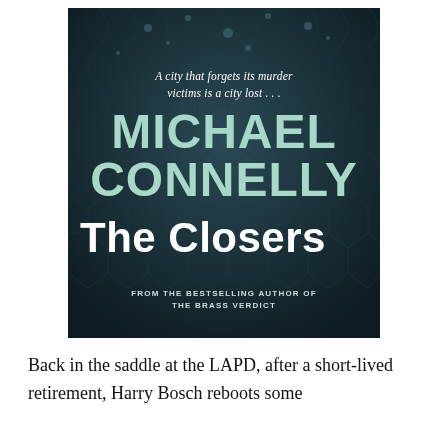[Figure (illustration): Book cover of 'The Closers' by Michael Connelly. Dark teal/blue textured background resembling cracked stone or scales. Tagline reads 'A city that forgets its murder victims is a city lost ...' Author name 'MICHAEL CONNELLY' in large mint/seafoam colored bold uppercase letters. Title 'The Closers' in large white bold mixed-case letters. Bottom text: 'FROM THE BESTSELLING AUTHOR OF THE BRASS VERDICT'.]
Back in the saddle at the LAPD, after a short-lived retirement, Harry Bosch reboots some